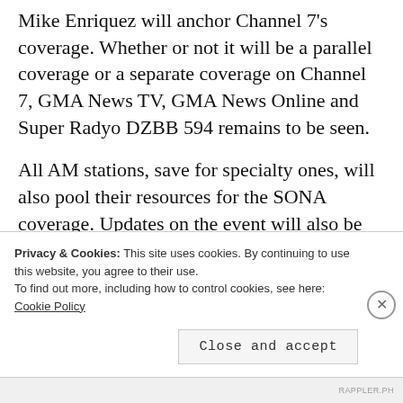Mike Enriquez will anchor Channel 7's coverage. Whether or not it will be a parallel coverage or a separate coverage on Channel 7, GMA News TV, GMA News Online and Super Radyo DZBB 594 remains to be seen.
All AM stations, save for specialty ones, will also pool their resources for the SONA coverage. Updates on the event will also be provided by a
Privacy & Cookies: This site uses cookies. By continuing to use this website, you agree to their use.
To find out more, including how to control cookies, see here: Cookie Policy
Close and accept
RAPPLER.PH